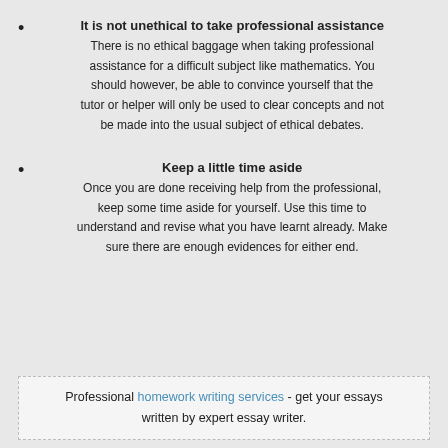It is not unethical to take professional assistance
There is no ethical baggage when taking professional assistance for a difficult subject like mathematics. You should however, be able to convince yourself that the tutor or helper will only be used to clear concepts and not be made into the usual subject of ethical debates.
Keep a little time aside
Once you are done receiving help from the professional, keep some time aside for yourself. Use this time to understand and revise what you have learnt already. Make sure there are enough evidences for either end.
Professional homework writing services - get your essays written by expert essay writer.